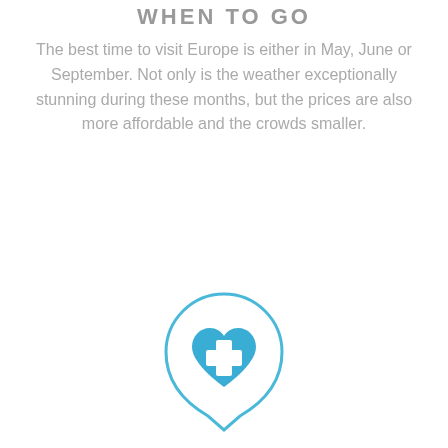WHEN TO GO
The best time to visit Europe is either in May, June or September. Not only is the weather exceptionally stunning during these months, but the prices are also more affordable and the crowds smaller.
[Figure (illustration): A teardrop/speech-bubble shaped icon with a blue outline containing a blue heart with a white medical cross symbol inside it, representing health.]